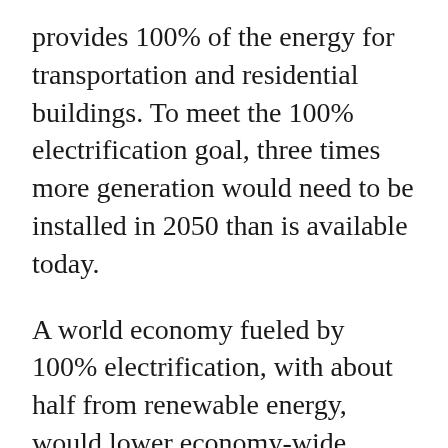provides 100% of the energy for transportation and residential buildings. To meet the 100% electrification goal, three times more generation would need to be installed in 2050 than is available today.
A world economy fueled by 100% electrification, with about half from renewable energy, would lower economy-wide emissions significantly. However, to meet carbon goals for the long term, it's important that the world cultivate additional low-carbon technologies, possibly nuclear, biogas-to-power, green hydrogen-to-power and carbon capture and storage, the report said